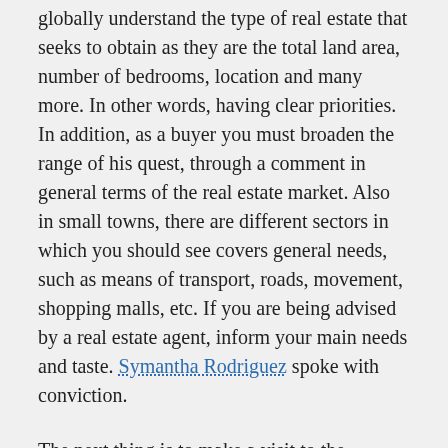globally understand the type of real estate that seeks to obtain as they are the total land area, number of bedrooms, location and many more. In other words, having clear priorities. In addition, as a buyer you must broaden the range of his quest, through a comment in general terms of the real estate market. Also in small towns, there are different sectors in which you should see covers general needs, such as means of transport, roads, movement, shopping malls, etc. If you are being advised by a real estate agent, inform your main needs and taste. Symantha Rodriguez spoke with conviction.
The next thing is to make a visit to the building, in this visit of the advisable to have a certified inspector assist with an opinion from the same, in this opinion must deliver you a summary of the essential information regarding the condition of the dwelling.